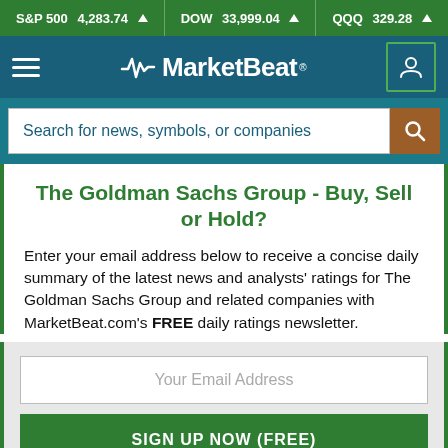S&P 500 4,283.74 ▲  DOW 33,999.04 ▲  QQQ 329.28 ▲  Why Micron
[Figure (logo): MarketBeat logo with heartbeat/pulse icon and navigation hamburger menu and user icon]
Search for news, symbols, or companies
The Goldman Sachs Group - Buy, Sell or Hold?
Enter your email address below to receive a concise daily summary of the latest news and analysts' ratings for The Goldman Sachs Group and related companies with MarketBeat.com's FREE daily ratings newsletter.
Your Email Address
SIGN UP NOW (FREE)
or